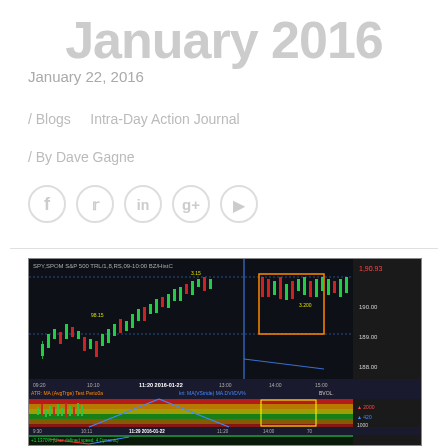January 2016
January 22, 2016
/ Blogs    Intra-Day Action Journal
/ By Dave Gagne
[Figure (screenshot): A multi-panel stock trading chart for SPY (S&P 500 ETF) dated 2016-01-22, showing candlestick price action with annotations, volume/momentum indicators in the middle panel, and a MACD/oscillator panel at the bottom. The chart includes blue and orange highlighted regions, trend arrows, and text annotations about market behavior.]